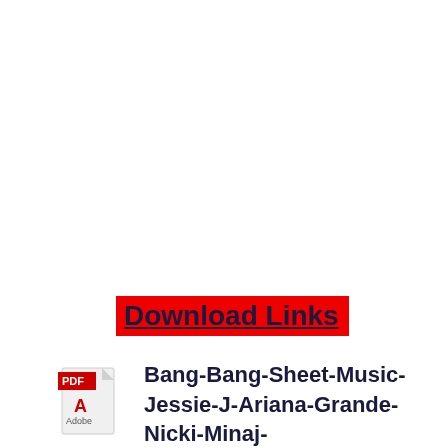Download Links
[Figure (illustration): Adobe PDF file icon — red banner with PDF label over a white document page with folded corner]
Bang-Bang-Sheet-Music-Jessie-J-Ariana-Grande-Nicki-Minaj-thepianonotes.com
Jessie J, Ariana Grande, Nicki Minaj – Bang Bang
She got a body like an hourglass